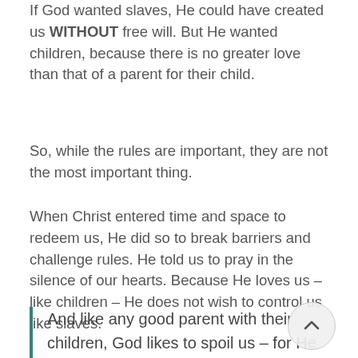If God wanted slaves, He could have created us WITHOUT free will. But He wanted children, because there is no greater love than that of a parent for their child.
So, while the rules are important, they are not the most important thing.
When Christ entered time and space to redeem us, He did so to break barriers and challenge rules. He told us to pray in the silence of our hearts. Because He loves us – like children – He does not wish to control us like slaves.
And like any good parent with their children, God likes to spoil us – for He gives us NOT